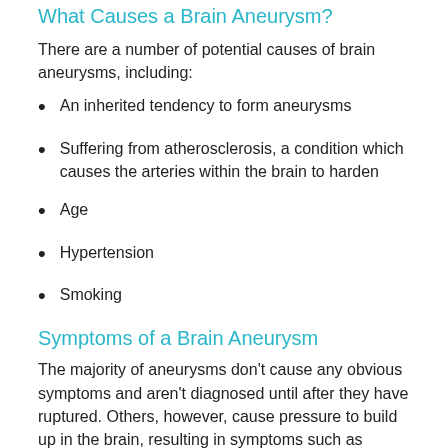What Causes a Brain Aneurysm?
There are a number of potential causes of brain aneurysms, including:
An inherited tendency to form aneurysms
Suffering from atherosclerosis, a condition which causes the arteries within the brain to harden
Age
Hypertension
Smoking
Symptoms of a Brain Aneurysm
The majority of aneurysms don't cause any obvious symptoms and aren't diagnosed until after they have ruptured. Others, however, cause pressure to build up in the brain, resulting in symptoms such as headaches,